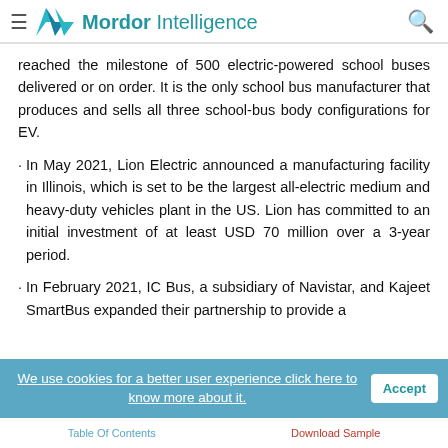Mordor Intelligence
reached the milestone of 500 electric-powered school buses delivered or on order. It is the only school bus manufacturer that produces and sells all three school-bus body configurations for EV.
In May 2021, Lion Electric announced a manufacturing facility in Illinois, which is set to be the largest all-electric medium and heavy-duty vehicles plant in the US. Lion has committed to an initial investment of at least USD 70 million over a 3-year period.
In February 2021, IC Bus, a subsidiary of Navistar, and Kajeet SmartBus expanded their partnership to provide a
We use cookies for a better user experience click here to know more about it.
Table Of Contents    Download Sample